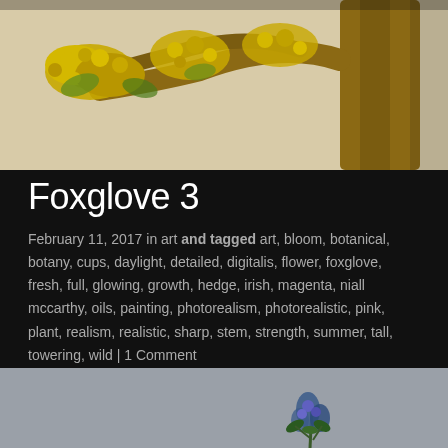[Figure (photo): Painting of a tree with yellow flowering branches against a light background, showing trunk and foliage.]
Foxglove 3
February 11, 2017 in art and tagged art, bloom, botanical, botany, cups, daylight, detailed, digitalis, flower, foxglove, fresh, full, glowing, growth, hedge, irish, magenta, niall mccarthy, oils, painting, photorealism, photorealistic, pink, plant, realism, realistic, sharp, stem, strength, summer, tall, towering, wild | 1 Comment
[Figure (photo): Painting of a small blue-purple flowering plant against a grey background.]